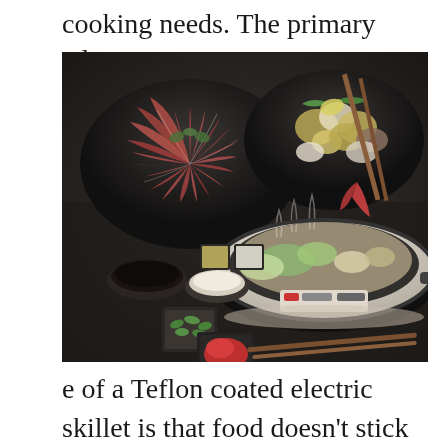cooking needs. The primary advantag
[Figure (photo): A Japanese shabu-shabu or hot pot setup showing an electric skillet/pot with broth and vegetables cooking, chopsticks lifting a slice of beef, surrounded by plates of sliced raw beef, vegetables, dipping sauces in small bowls, and condiments on a dark wooden surface.]
e of a Teflon coated electric skillet is that food doesn’t stick to it. Cooking using Teflon coated electric skillet is incredibly easy and doesn’t require any elbow